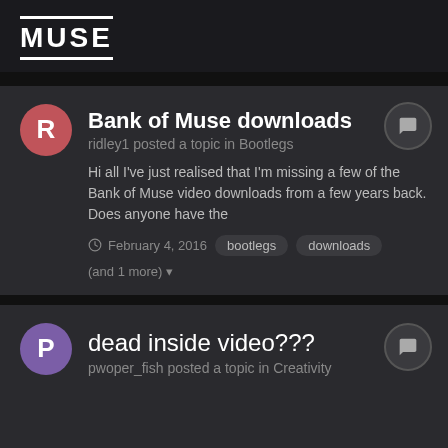MUSE
Bank of Muse downloads
ridley1 posted a topic in Bootlegs
Hi all I've just realised that I'm missing a few of the Bank of Muse video downloads from a few years back. Does anyone have the
February 4, 2016  bootlegs  downloads  (and 1 more)
dead inside video???
pwoper_fish posted a topic in Creativity